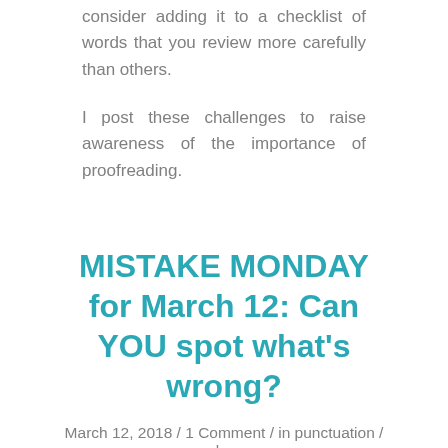consider adding it to a checklist of words that you review more carefully than others.
I post these challenges to raise awareness of the importance of proofreading.
MISTAKE MONDAY for March 12: Can YOU spot what's wrong?
March 12, 2018 / 1 Comment / in punctuation / by